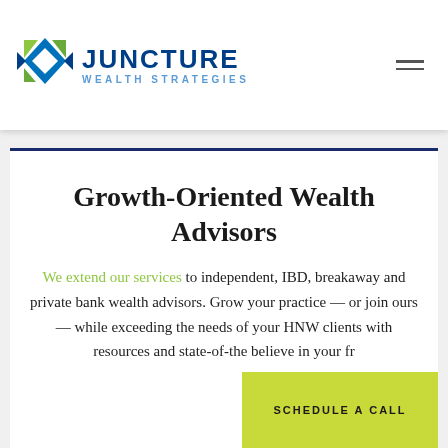[Figure (logo): Juncture Wealth Strategies logo with diamond/kite shape in blue and green colors, company name in dark blue, subtitle in light blue]
Growth-Oriented Wealth Advisors
We extend our services to independent, IBD, breakaway and private bank wealth advisors. Grow your practice — or join ours — while exceeding the needs of your HNW clients with resources and state-of-the believe in your fr
SCHEDULE A CALL